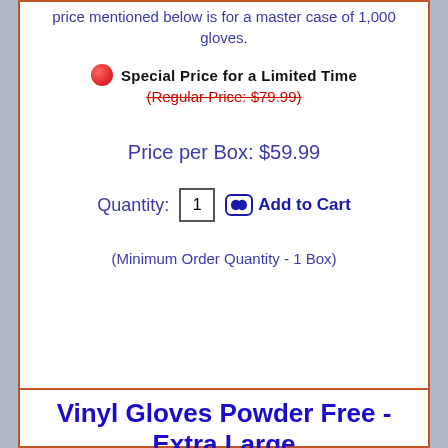price mentioned below is for a master case of 1,000 gloves.
Special Price for a Limited Time
(Regular Price: $79.99)
Price per Box: $59.99
Quantity:  1  Add to Cart
(Minimum Order Quantity -  1  Box)
Vinyl Gloves Powder Free - Extra Large
Item Number: VE004...